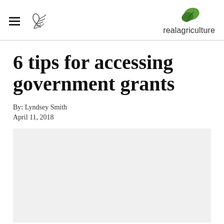realagriculture
6 tips for accessing government grants
By: Lyndsey Smith
April 11, 2018
[Figure (photo): Light grey placeholder image area below the article header]